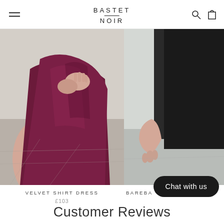BASTET NOIR
[Figure (photo): Model wearing a dark burgundy/purple velvet shirt dress, showing legs and hands crossed at waist, against a light stone background]
[Figure (photo): Partial view of model in black outfit, hand visible near hip, against light background]
VELVET SHIRT DRESS
£103
BAREBA
Chat with us
Customer Reviews